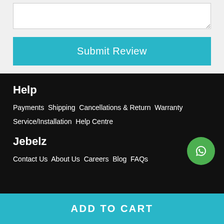[textarea input box]
Submit Review
Help
Payments  Shipping  Cancellations & Return  Warranty  Service/Installation  Help Centre
Jebelz
Contact Us  About Us  Careers  Blog  FAQs
[Figure (other): WhatsApp contact button (green circle with WhatsApp logo)]
ADD TO CART